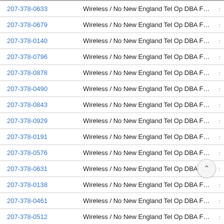| Phone | Carrier |  |
| --- | --- | --- |
| 207-378-0633 | Wireless / No New England Tel Op DBA Fairpoint Comm | : |
| 207-378-0679 | Wireless / No New England Tel Op DBA Fairpoint Comm | : |
| 207-378-0140 | Wireless / No New England Tel Op DBA Fairpoint Comm | : |
| 207-378-0796 | Wireless / No New England Tel Op DBA Fairpoint Comm | : |
| 207-378-0878 | Wireless / No New England Tel Op DBA Fairpoint Comm | : |
| 207-378-0490 | Wireless / No New England Tel Op DBA Fairpoint Comm | : |
| 207-378-0843 | Wireless / No New England Tel Op DBA Fairpoint Comm | : |
| 207-378-0929 | Wireless / No New England Tel Op DBA Fairpoint Comm | : |
| 207-378-0191 | Wireless / No New England Tel Op DBA Fairpoint Comm | : |
| 207-378-0576 | Wireless / No New England Tel Op DBA Fairpoint Comm | : |
| 207-378-0631 | Wireless / No New England Tel Op DBA Fairpoint Comm | : |
| 207-378-0138 | Wireless / No New England Tel Op DBA Fairpoint Comm | : |
| 207-378-0461 | Wireless / No New England Tel Op DBA Fairpoint Comm | : |
| 207-378-0512 | Wireless / No New England Tel Op DBA Fairpoint Comm | : |
| 207-378-0867 | Wireless / No New England Tel Op DBA Fairpoint Cor | : |
| 207-378-0716 | Wireless / No New England Tel Op DBA Fairpoint Comm. | : |
| 207-378-0739 | Wireless / No New England Tel Op DBA Fairpoint Comm | : |
| 207-378-0529 | Wireless / No New England Tel Op DBA Fairpoint Comm | : |